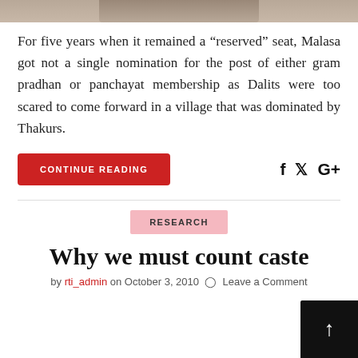[Figure (photo): Partial cropped photo visible at the top of the page, showing a muted brown/beige toned image.]
For five years when it remained a “reserved” seat, Malasa got not a single nomination for the post of either gram pradhan or panchayat membership as Dalits were too scared to come forward in a village that was dominated by Thakurs.
CONTINUE READING
f ✓ G+
RESEARCH
Why we must count caste
by rti_admin on October 3, 2010  Leave a Comment